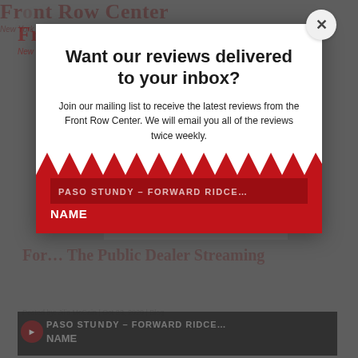Front Row Center
New York Theater | Bold, Biased and Opinionated
Want our reviews delivered to your inbox?
Join our mailing list to receive the latest reviews from the Front Row Center. We will email you all of the reviews twice weekly.
NAME